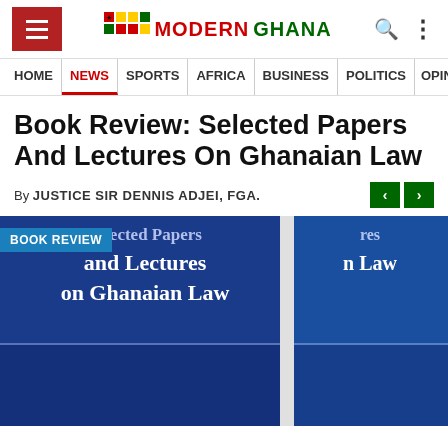Modern Ghana — HOME | NEWS | SPORTS | AFRICA | BUSINESS | POLITICS | OPINION
Book Review: Selected Papers And Lectures On Ghanaian Law
By JUSTICE SIR DENNIS ADJEI, FGA.
[Figure (photo): Photo of two blue book covers titled 'Selected Papers and Lectures on Ghanaian Law' with a 'BOOK REVIEW' badge overlay in the top-left corner.]